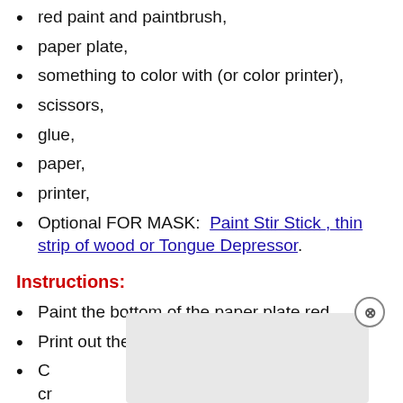red paint and paintbrush,
paper plate,
something to color with (or color printer),
scissors,
glue,
paper,
printer,
Optional FOR MASK:  Paint Stir Stick , thin strip of wood or Tongue Depressor.
Instructions:
Paint the bottom of the paper plate red.
Print out the craft template of choice.
C... of the cr... st of